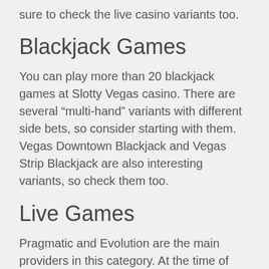sure to check the live casino variants too.
Blackjack Games
You can play more than 20 blackjack games at Slotty Vegas casino. There are several “multi-hand” variants with different side bets, so consider starting with them. Vegas Downtown Blackjack and Vegas Strip Blackjack are also interesting variants, so check them too.
Live Games
Pragmatic and Evolution are the main providers in this category. At the time of this review, more than 30 live dealer games were available. You can play all kinds of table and card games (poker, blackjack, roulette, baccarat) against real dealers. It is recommended to check the exotic options (game